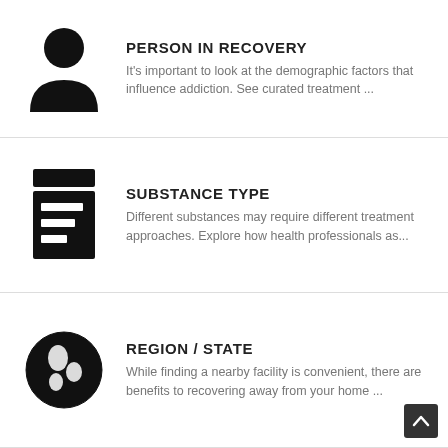[Figure (illustration): Black silhouette icon of a person (head and shoulders)]
PERSON IN RECOVERY
It's important to look at the demographic factors that influence addiction. See curated treatment ...
[Figure (illustration): Black icon of a prescription/document list with lines]
SUBSTANCE TYPE
Different substances may require different treatment approaches. Explore how health professionals as...
[Figure (illustration): Black globe/earth icon]
REGION / STATE
While finding a nearby facility is convenient, there are benefits to recovering away from your home ...